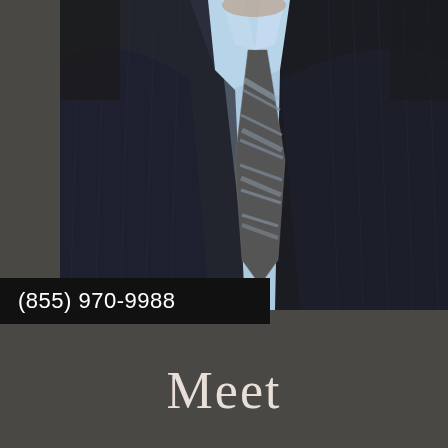[Figure (photo): Professional headshot of a man in a dark suit, light blue shirt, and grey/blue striped tie. Only the torso and lower face/chin visible. Background is dark/studio.]
(855) 970-9988
Meet